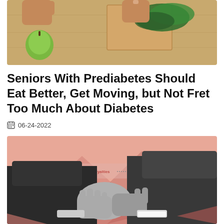[Figure (photo): Overhead view of hands chopping vegetables on a wooden cutting board, with green apple and leafy greens visible]
Seniors With Prediabetes Should Eat Better, Get Moving, but Not Fret Too Much About Diabetes
06-24-2022
[Figure (photo): Black and white image of two men in suits shaking hands against a pink/red abstract background with triangular shapes and a royalties counter showing 1,001,666,425]